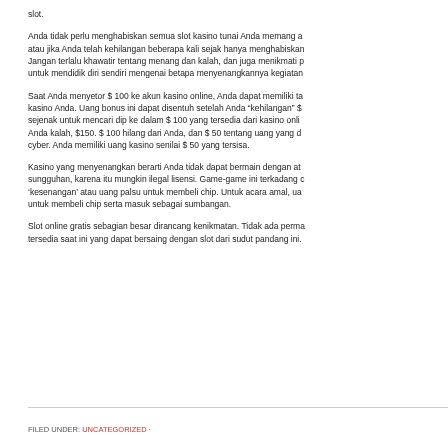slot.
Anda tidak perlu menghabiskan semua slot kasino tunai Anda memang a atau jika Anda telah kehilangan beberapa kali sejak hanya menghabiskan Jangan terlalu khawatir tentang menang dan kalah, dan juga menikmati p untuk mendidik diri sendiri mengenai betapa menyenangkannya kegiatan
Saat Anda menyetor $ 100 ke akun kasino online, Anda dapat memiliki ta kasino Anda. Uang bonus ini dapat disentuh setelah Anda "kehilangan" $ sejenak untuk mencari dip ke dalam $ 100 yang tersedia dari kasino onli Anda kalah, $150. $ 100 hilang dari Anda, dan $ 50 tentang uang yang d cyber. Anda memiliki uang kasino senilai $ 50 yang tersisa.
Kasino yang menyenangkan berarti Anda tidak dapat bermain dengan at sungguhan, karena itu mungkin ilegal lisensi. Game-game ini terkadang c 'kesenangan' atau uang palsu untuk membeli chip. Untuk acara amal, ua untuk membeli chip serta masuk sebagai sumbangan.
Slot online gratis sebagian besar dirancang kenikmatan. Tidak ada perma tersedia saat ini yang dapat bersaing dengan slot dari sudut pandang ini.
FILED UNDER: UNCATEGORIZED ·